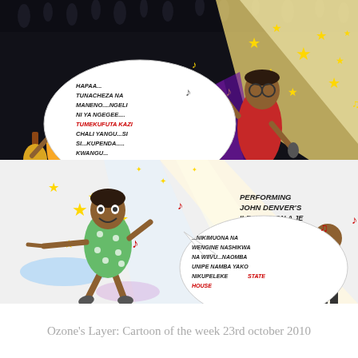[Figure (illustration): A cartoon comic panel showing musicians and dancers at a concert/party. Top half has a dark background with silhouetted crowd. A guitarist in yellow outfit on the left, a singer in red shirt performing in the center-right. Multiple speech bubbles: one says 'HAPAA... TUNACHEZA NA MANENO....NGELI NI YA NGEGEE.... TUMEKUFUTA KAZI CHALI YANGU...SI SI...KUPENDA..... KWANGU...' (with TUMEKUFUTA KAZI in red), another says 'C'MON NOW GO...WALK OUT THE THE DOOR..JUST TURN AROUND NOW.... COZ YOUR NOT WELCOME ANYMORE....' (with WALK OUT THE THE DOOR in red). A label reads 'PERFORMING JOHN DENVER'S 'LEAVING ON A JE PLANE''. Bottom half shows a colorful light background with a woman in green polka-dot dress dancing and pointing, and a speech bubble saying '...NIKIMUONA NA WENGINE NASHIKWA NA WIIVU...NAOMBA UNIPE NAMBA YAKO NIKUPELEKE STATE HOUSE' (with STATE HOUSE in red). Stars and music notes scattered throughout.]
Ozone's Layer: Cartoon of the week 23rd october 2010